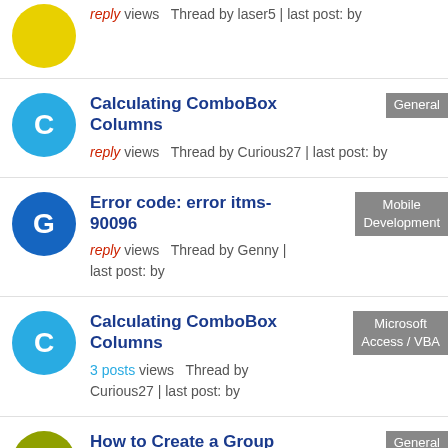reply views Thread by laser5 | last post: by
Calculating ComboBox Columns — General — reply views Thread by Curious27 | last post: by
Error code: error itms-90096 — Mobile Development — reply views Thread by Genny | last post: by
Calculating ComboBox Columns — Microsoft Access / VBA — 3 posts views Thread by Curious27 | last post: by
How to Create a Group Chat with an Android App — General — reply views Thread by patriciajames | last post: by